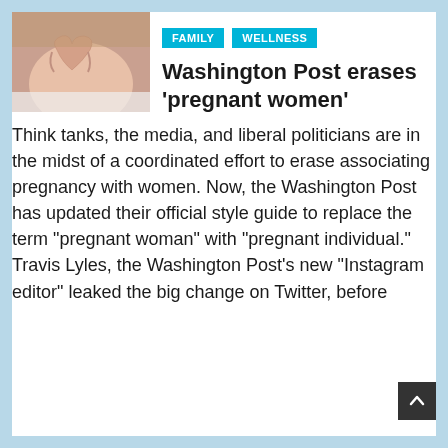[Figure (photo): Close-up photo of a pregnant woman's belly with hands forming a heart shape]
FAMILY   WELLNESS
Washington Post erases 'pregnant women'
Think tanks, the media, and liberal politicians are in the midst of a coordinated effort to erase associating pregnancy with women. Now, the Washington Post has updated their official style guide to replace the term “pregnant woman” with “pregnant individual.” Travis Lyles, the Washington Post’s new “Instagram editor” leaked the big change on Twitter, before